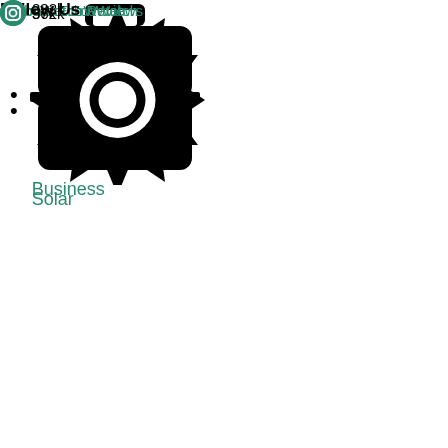Business
Solar
About EcoWatch
Contact EcoWatch
EcoWatch Reviews
Follow Us
572k
232k
36k